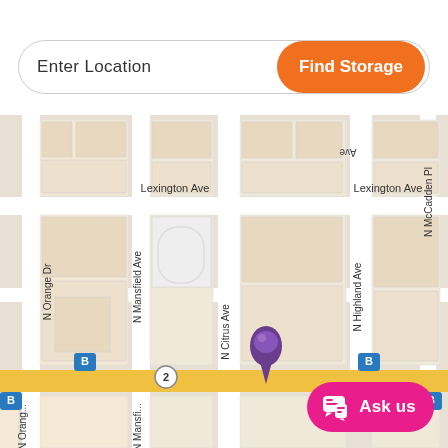Enter Location
Find Storage
[Figure (map): Street map showing N Orange Dr, N Mansfield Ave, N Citrus Ave, N Highland Ave, N McCadden Pl, Lexington Ave, with a purple location pin marker and bus stop icons. A yellow horizontal street runs across the bottom of the map.]
Ask us